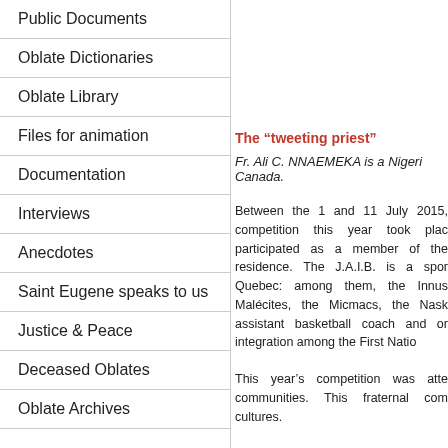Public Documents
Oblate Dictionaries
Oblate Library
Files for animation
Documentation
Interviews
Anecdotes
Saint Eugene speaks to us
Justice & Peace
Deceased Oblates
Oblate Archives
The “tweeting priest”
Fr. Ali C. NNAEMEKA is a Nigeri... Canada.
Between the 1 and 11 July 2015, competition this year took plac... integration among the First Nation...
This year’s competition was atte... communities. This fraternal com... cultures.